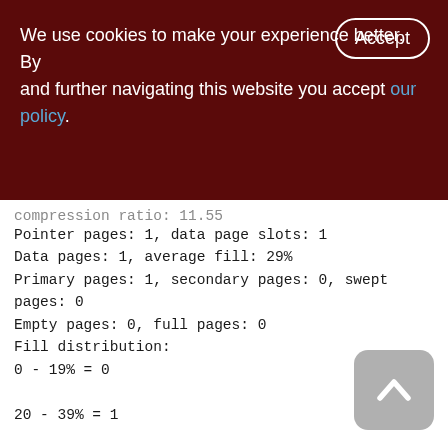We use cookies to make your experience better. By accepting and further navigating this website you accept our policy.
compression ratio: 11.55
Pointer pages: 1, data page slots: 1
Data pages: 1, average fill: 29%
Primary pages: 1, secondary pages: 0, swept pages: 0
Empty pages: 0, full pages: 0
Fill distribution:
0 - 19% = 0
20 - 39% = 1
40 - 59% = 0
60 - 79% = 0
80 - 99% = 0